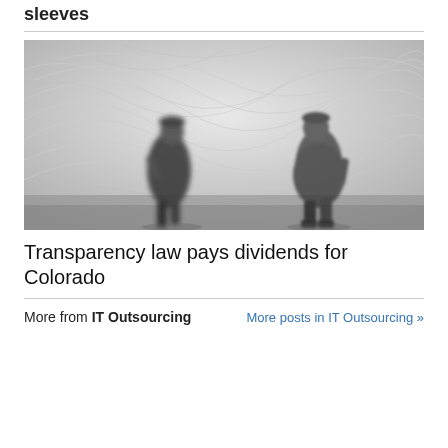sleeves
[Figure (photo): Black and white photograph of two blurred human figures standing against a large flowing fabric or plastic sheet backdrop with swirling textures.]
Transparency law pays dividends for Colorado
More from IT Outsourcing   More posts in IT Outsourcing »